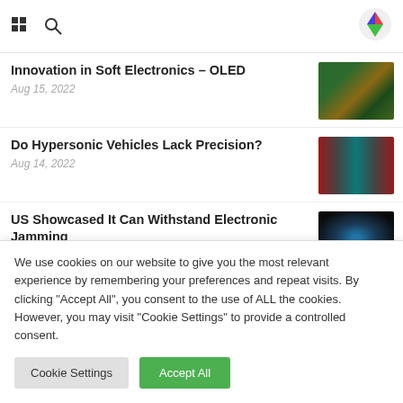Innovation in Soft Electronics – OLED
Aug 15, 2022
[Figure (photo): Close-up photo of a green circuit board with electronic components]
Do Hypersonic Vehicles Lack Precision?
Aug 14, 2022
[Figure (photo): Abstract photo with red and teal concentric wave patterns on dark background]
US Showcased It Can Withstand Electronic Jamming
[Figure (photo): Dark image with glowing blue spherical object]
We use cookies on our website to give you the most relevant experience by remembering your preferences and repeat visits. By clicking "Accept All", you consent to the use of ALL the cookies. However, you may visit "Cookie Settings" to provide a controlled consent.